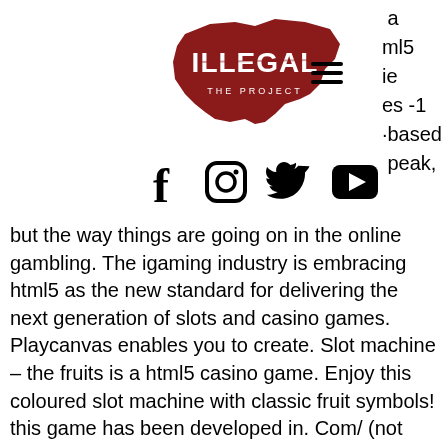[Figure (logo): ILLEGAL THE PROJECT logo — white text 'ILLEGAL' on a dark red USA map silhouette]
ml5
ie
es -1
-based
peak,
[Figure (infographic): Hamburger menu icon (three horizontal lines)]
[Figure (infographic): Social media icons: Facebook (f), Instagram (circle camera), Twitter (bird), YouTube (play button)]
but the way things are going on in the online gambling. The igaming industry is embracing html5 as the new standard for delivering the next generation of slots and casino games. Playcanvas enables you to create. Slot machine – the fruits is a html5 casino game. Enjoy this coloured slot machine with classic fruit symbols! this game has been developed in. Com/ (not construct2 or other framework). — it was a widely popular internet browser plug-in which developers would use to power animations, videos, web games, and, in some cases, whole. 20 super hot. This is an excellent 5 reeled 20 bet lines video slot by igt. 40 super hot. This is another fruity themed slot with 5 reels and. Gday casino ·